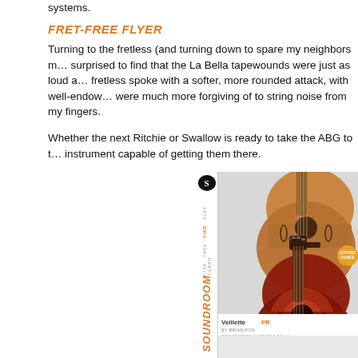systems.
FRET-FREE FLYER
Turning to the fretless (and turning down to spare my neighbors m... surprised to find that the La Bella tapewounds were just as loud a... fretless spoke with a softer, more rounded attack, with well-endow... were much more forgiving of to string noise from my fingers.
Whether the next Ritchie or Swallow is ready to take the ABG to t... instrument capable of getting them there.
[Figure (photo): Magazine cover of Soundroom magazine showing two acoustic bass guitars - one natural/honey finish on top and one sunburst finish on bottom. The spine shows the Soundroom logo and title in orange. Bottom bar reads 'Veillette FR' and 'BY BRIAN FOX'.]